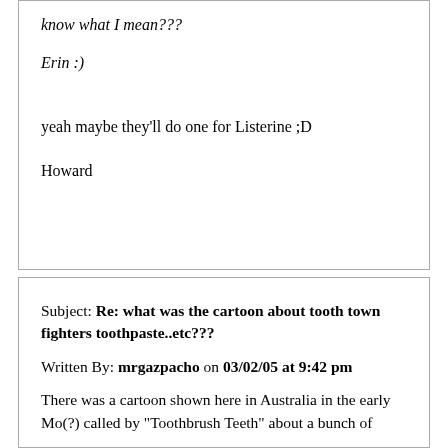know what I mean???
Erin :)
yeah maybe they'll do one for Listerine ;D
Howard
Subject: Re: what was the cartoon about tooth town fighters toothpaste..etc???
Written By: mrgazpacho on 03/02/05 at 9:42 pm
There was a cartoon shown here in Australia in the early Mo(?)...alled-by "Toothbrush Teeth" about a bunch of